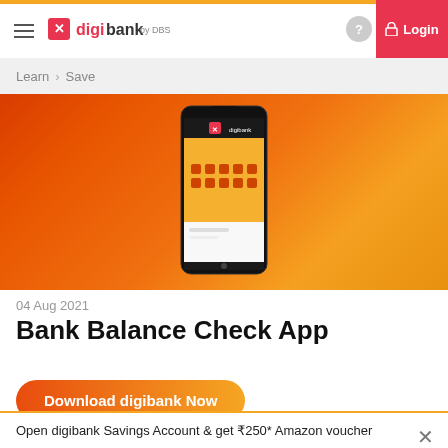digibank by DBS — Login
Learn > Save
[Figure (screenshot): Hero banner with orange-red gradient background and a smartphone showing the digibank app interface]
04 Aug 2021
Bank Balance Check App
Download digibank Now
Open digibank Savings Account & get ₹250* Amazon voucher